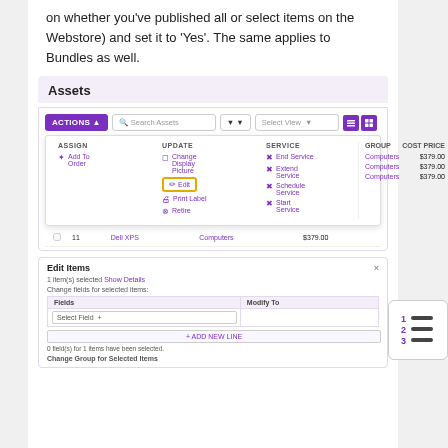on whether you've published all or select items on the Webstore) and set it to 'Yes'. The same applies to Bundles as well.
Assets
[Figure (screenshot): Screenshot of Assets management UI showing ACTIONS dropdown menu with ASSIGN, UPDATE, and SERVICE columns. UPDATE column shows Edit option highlighted in yellow border. Table rows show Dell XPS items categorized as Computers with price $379.00.]
[Figure (screenshot): Screenshot of Edit Items dialog showing fields for selected items. Contains a table with Field and Modify To columns, a Select Field dropdown, and + Add New Line button. Footer shows 0 field(s) for 1 items have been selected and Change Group for Selected Items section.]
[Figure (illustration): Numbered list icon showing 1, 2, 3 with horizontal lines next to each number.]